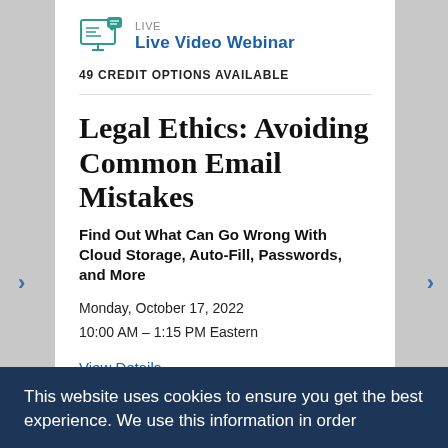[Figure (logo): Live Video Webinar icon with monitor and chat bubbles, teal/blue color]
LIVE
Live Video Webinar
49 CREDIT OPTIONS AVAILABLE
Legal Ethics: Avoiding Common Email Mistakes
Find Out What Can Go Wrong With Cloud Storage, Auto-Fill, Passwords, and More
Monday, October 17, 2022
10:00 AM – 1:15 PM Eastern
View Details
[Figure (logo): Basic level icon - small grid/certificate icon]
Basic
ETHICS & SPECIALTY CREDITS
This website uses cookies to ensure you get the best experience. We use this information in order